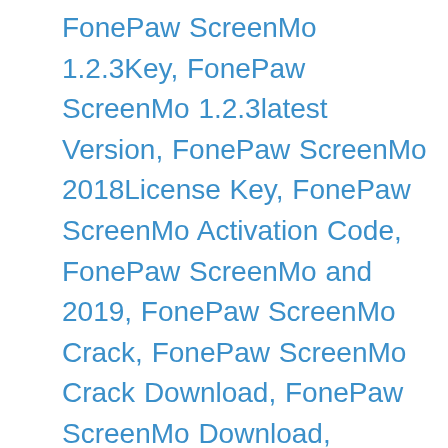FonePaw ScreenMo 1.2.3Key, FonePaw ScreenMo 1.2.3latest Version, FonePaw ScreenMo 2018License Key, FonePaw ScreenMo Activation Code, FonePaw ScreenMo and 2019, FonePaw ScreenMo Crack, FonePaw ScreenMo Crack Download, FonePaw ScreenMo Download, FonePaw ScreenMo Features, FonePaw ScreenMo Free, FonePaw ScreenMo Free Download, FonePaw ScreenMo Full, FonePaw ScreenMo Full Download, FonePaw ScreenMo Latest Version, FonePaw ScreenMo License Key, FonePaw ScreenMo Serial Key, FonePaw ScreenMoActivaton Code, FonePaw ScreenMoCrack, FonePaw ScreenMoFull Free,